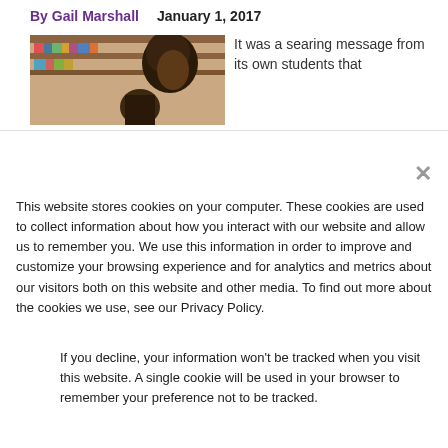By Gail Marshall   January 1, 2017
[Figure (photo): Classroom photo showing a person (child or teacher) among bookshelves]
It was a searing message from its own students that
This website stores cookies on your computer. These cookies are used to collect information about how you interact with our website and allow us to remember you. We use this information in order to improve and customize your browsing experience and for analytics and metrics about our visitors both on this website and other media. To find out more about the cookies we use, see our Privacy Policy.
If you decline, your information won't be tracked when you visit this website. A single cookie will be used in your browser to remember your preference not to be tracked.
Accept
Decline